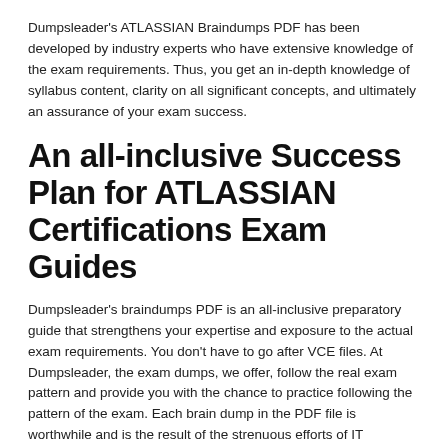Dumpsleader's ATLASSIAN Braindumps PDF has been developed by industry experts who have extensive knowledge of the exam requirements. Thus, you get an in-depth knowledge of syllabus content, clarity on all significant concepts, and ultimately an assurance of your exam success.
An all-inclusive Success Plan for ATLASSIAN Certifications Exam Guides
Dumpsleader's braindumps PDF is an all-inclusive preparatory guide that strengthens your expertise and exposure to the actual exam requirements. You don't have to go after VCE files. At Dumpsleader, the exam dumps, we offer, follow the real exam pattern and provide you with the chance to practice following the pattern of the exam. Each brain dump in the PDF file is worthwhile and is the result of the strenuous efforts of IT certification exam experts. It provides you with the most valuable information which most likely appears in the exam paper. Enhancing your command of the study material in pass4sure dumps simply means ensuring success.